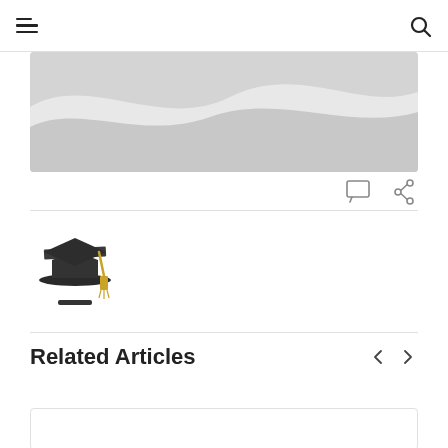Navigation header with hamburger menu and search icon
[Figure (illustration): Gray wave/hill abstract illustration used as article banner image]
[Figure (illustration): Chat/comment icon and share icon in action bar]
[Figure (illustration): Graduation cap emoji/icon in dark color with gold tassel]
Related Articles
[Figure (other): Article card preview (partial, cut off at bottom)]